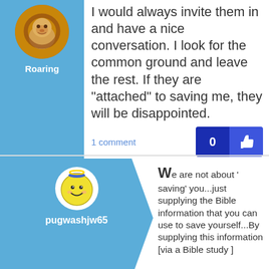[Figure (photo): Circular avatar of a lion, user named Roaring]
Roaring
I would always invite them in and have a nice conversation. I look for the common ground and leave the rest. If they are “attached” to saving me, they will be disappointed.
1 comment
[Figure (illustration): Smiley face with halo icon for user pugwashjw65]
pugwashjw65
We are not about ' saving' you...just supplying the Bible information that you can use to save yourself...By supplying this information [via a Bible study ]